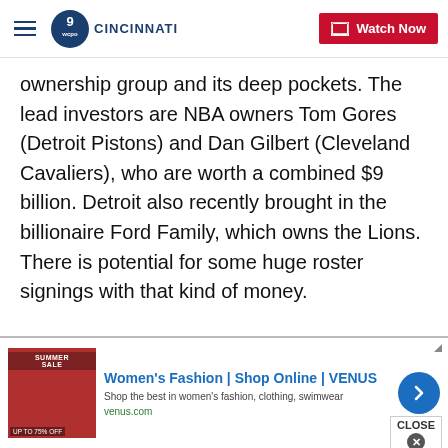WCPO Cincinnati — Watch Now
ownership group and its deep pockets. The lead investors are NBA owners Tom Gores (Detroit Pistons) and Dan Gilbert (Cleveland Cavaliers), who are worth a combined $9 billion. Detroit also recently brought in the billionaire Ford Family, which owns the Lions. There is potential for some huge roster signings with that kind of money.
Copyright 2017 Scripps Media, Inc. All rights reserved. This material may not be published, broadcast, rewritten, or redistributed.
[Figure (screenshot): Advertisement banner: Women's Fashion | Shop Online | VENUS. Shop the best in women's fashion, clothing, swimwear. venus.com]